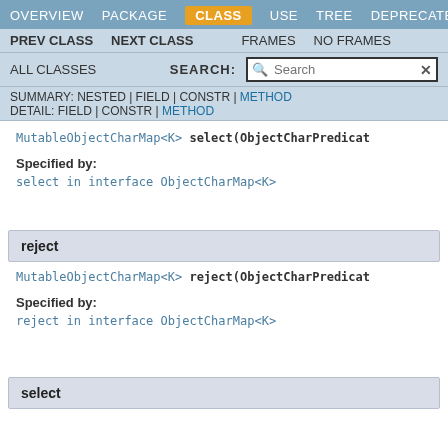OVERVIEW  PACKAGE  CLASS  USE  TREE  DEPRECATED
PREV CLASS  NEXT CLASS  FRAMES  NO FRAMES
ALL CLASSES  SEARCH:  [Search]
SUMMARY: NESTED | FIELD | CONSTR | METHOD  DETAIL: FIELD | CONSTR | METHOD
MutableObjectCharMap<K> select(ObjectCharPredicat
Specified by:
select in interface ObjectCharMap<K>
reject
MutableObjectCharMap<K> reject(ObjectCharPredicat
Specified by:
reject in interface ObjectCharMap<K>
select